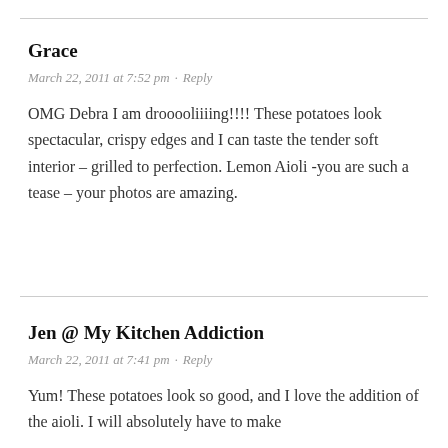Grace
March 22, 2011 at 7:52 pm · Reply
OMG Debra I am drooooliiiing!!!! These potatoes look spectacular, crispy edges and I can taste the tender soft interior – grilled to perfection. Lemon Aioli -you are such a tease – your photos are amazing.
Jen @ My Kitchen Addiction
March 22, 2011 at 7:41 pm · Reply
Yum! These potatoes look so good, and I love the addition of the aioli. I will absolutely have to make